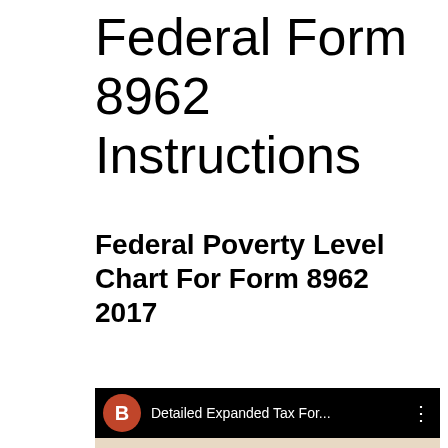Federal Form 8962 Instructions
Federal Poverty Level Chart For Form 8962 2017
[Figure (screenshot): YouTube video thumbnail showing a handwritten note about 'Child of Divorced / Separated Parents' with a red avatar channel icon labeled 'B' and video title 'Detailed Expanded Tax For...']